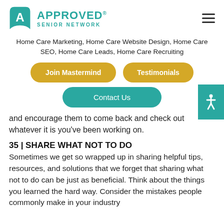[Figure (logo): Approved Senior Network logo with teal A icon and text]
Home Care Marketing, Home Care Website Design, Home Care SEO, Home Care Leads, Home Care Recruiting
[Figure (other): Two yellow rounded buttons: Join Mastermind and Testimonials]
[Figure (other): Teal Contact Us rounded button with teal accessibility icon on the right]
and encourage them to come back and check out whatever it is you've been working on.
35 | SHARE WHAT NOT TO DO
Sometimes we get so wrapped up in sharing helpful tips, resources, and solutions that we forget that sharing what not to do can be just as beneficial. Think about the things you learned the hard way. Consider the mistakes people commonly make in your industry